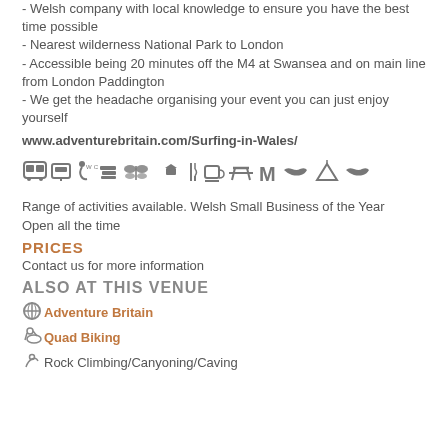- Welsh company with local knowledge to ensure you have the best time possible
- Nearest wilderness National Park to London
- Accessible being 20 minutes off the M4 at Swansea and on main line from London Paddington
- We get the headache organising your event you can just enjoy yourself
www.adventurebritain.com/Surfing-in-Wales/
[Figure (infographic): Row of amenity icons: bus, ticket machine, wheelchair/WC, books/stacking, butterfly/nature, graduation cap, cutlery, coffee cup, picnic table, letter M, handshake, tent/shelter, handshake]
Range of activities available. Welsh Small Business of the Year
Open all the time
PRICES
Contact us for more information
ALSO AT THIS VENUE
Adventure Britain
Quad Biking
Rock Climbing/Canyoning/Caving